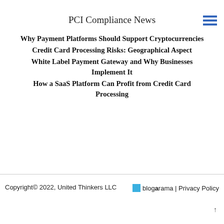PCI Compliance News
Why Payment Platforms Should Support Cryptocurrencies
Credit Card Processing Risks: Geographical Aspect
White Label Payment Gateway and Why Businesses Implement It
How a SaaS Platform Can Profit from Credit Card Processing
Copyright© 2022, United Thinkers LLC   blogarama | Privacy Policy